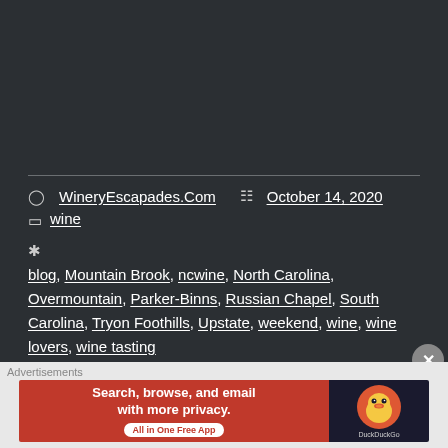WineryEscapades.Com   October 14, 2020
wine
blog, Mountain Brook, ncwine, North Carolina, Overmountain, Parker-Binns, Russian Chapel, South Carolina, Tryon Foothills, Upstate, weekend, wine, wine lovers, wine tasting
Leave a comment
[Figure (screenshot): DuckDuckGo advertisement banner: 'Search, browse, and email with more privacy. All in One Free App' with DuckDuckGo logo]